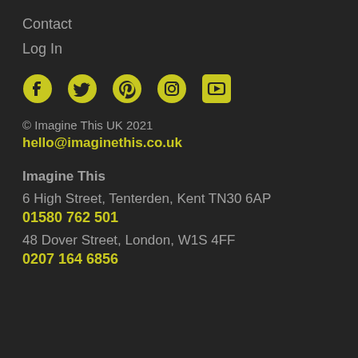Contact
Log In
[Figure (illustration): Five social media icons in yellow: Facebook, Twitter, Pinterest, Instagram, YouTube]
© Imagine This UK 2021
hello@imaginethis.co.uk
Imagine This
6 High Street, Tenterden, Kent TN30 6AP
01580 762 501
48 Dover Street, London, W1S 4FF
0207 164 6856